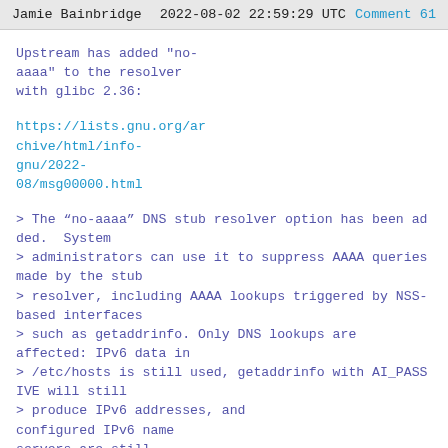Jamie Bainbridge   2022-08-02 22:59:29 UTC   Comment 61
Upstream has added "no-aaaa" to the resolver with glibc 2.36:
https://lists.gnu.org/archive/html/info-gnu/2022-08/msg00000.html
> The “no-aaaa” DNS stub resolver option has been added.  System
> administrators can use it to suppress AAAA queries made by the stub
> resolver, including AAAA lookups triggered by NSS-based interfaces
> such as getaddrinfo. Only DNS lookups are affected: IPv6 data in
> /etc/hosts is still used, getaddrinfo with AI_PASSIVE will still
> produce IPv6 addresses, and configured IPv6 name servers are still